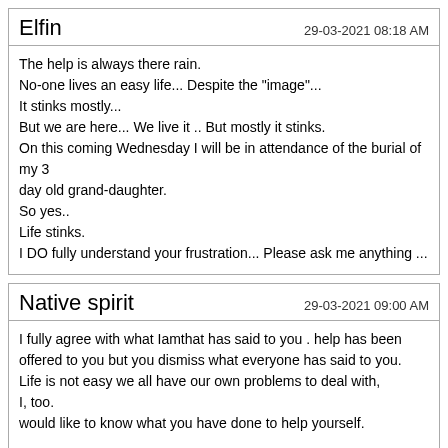Elfin
29-03-2021 08:18 AM
The help is always there rain.
No-one lives an easy life... Despite the "image"...
It stinks mostly...
But we are here... We live it .. But mostly it stinks.
On this coming Wednesday I will be in attendance of the burial of my 3 day old grand-daughter.
So yes..
Life stinks.
I DO fully understand your frustration... Please ask me anything ...
Native spirit
29-03-2021 09:00 AM
I fully agree with what Iamthat has said to you . help has been offered to you but you dismiss what everyone has said to you.
Life is not easy we all have our own problems to deal with,
I, too.
would like to know what you have done to help yourself.

Namaste
utopiandreamchild
29-03-2021 09:23 PM
Quote: